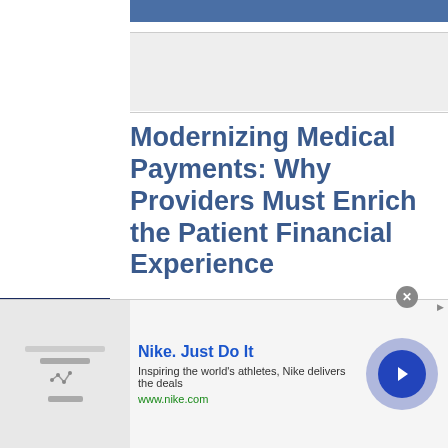Modernizing Medical Payments: Why Providers Must Enrich the Patient Financial Experience
Type of Financial Experience that Would Keep US Healthcare Consumers from Returning to Their Medical Providers, Summer 2021
% of respondents
[Figure (bar-chart): Type of Financial Experience that Would Keep US Healthcare Consumers from Returning to Their Medical Providers, Summer 2021]